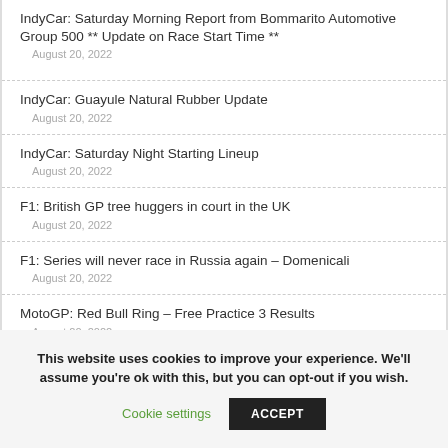IndyCar: Saturday Morning Report from Bommarito Automotive Group 500 ** Update on Race Start Time **
August 20, 2022
IndyCar: Guayule Natural Rubber Update
August 20, 2022
IndyCar: Saturday Night Starting Lineup
August 20, 2022
F1: British GP tree huggers in court in the UK
August 20, 2022
F1: Series will never race in Russia again – Domenicali
August 20, 2022
MotoGP: Red Bull Ring – Free Practice 3 Results
August 20, 2022
This website uses cookies to improve your experience. We'll assume you're ok with this, but you can opt-out if you wish.
Cookie settings   ACCEPT